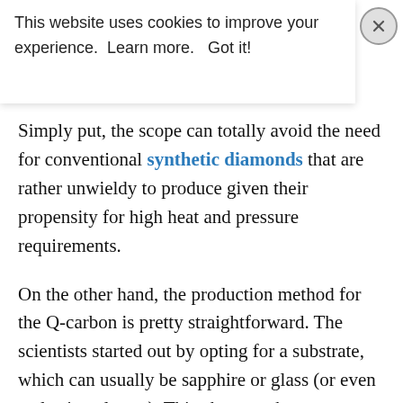[Figure (screenshot): Cookie consent banner overlay with text 'This website uses cookies to improve your experience. Learn more. Got it!' and a close button (X) in the top-right corner.]
Simply put, the scope can totally avoid the need for conventional synthetic diamonds that are rather unwieldy to produce given their propensity for high heat and pressure requirements.
On the other hand, the production method for the Q-carbon is pretty straightforward. The scientists started out by opting for a substrate, which can usually be sapphire or glass (or even a plastic polymer). This chosen substrate was then coated with amorphous carbon, known for its irregular structure, unlike diamond or graphite. Subsequently, the layered carbon was targeted with a single laser pulse, and the beam on hitting the substance for 200 nanoseconds, led to a temperature of 3,727 degrees Celsius. The carbon was then cooled off, and the resulting film was